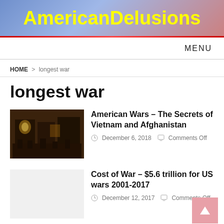AmericanDelusions
MENU
HOME > longest war
longest war
[Figure (photo): Dark interior war scene photograph]
American Wars – The Secrets of Vietnam and Afghanistan
December 6, 2018   Comments Off
[Figure (photo): Light gray placeholder thumbnail]
Cost of War – $5.6 trillion for US wars 2001-2017
December 12, 2017   Comments Off
This website does not use cookies.